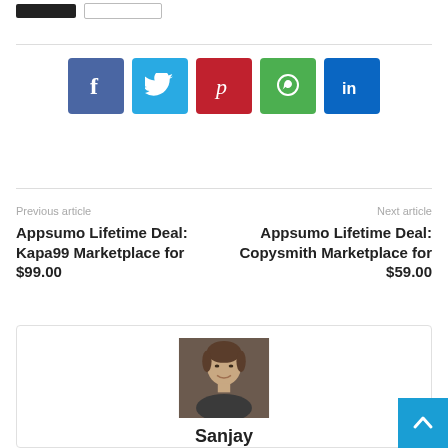[Figure (other): Social share buttons: Facebook (blue), Twitter (cyan), Pinterest (red), WhatsApp (green), LinkedIn (dark blue)]
Previous article
Appsumo Lifetime Deal: Kapa99 Marketplace for $99.00
Next article
Appsumo Lifetime Deal: Copysmith Marketplace for $59.00
[Figure (photo): Author headshot photo of a young man with brown hair, smiling, against a dark background]
Sanjay